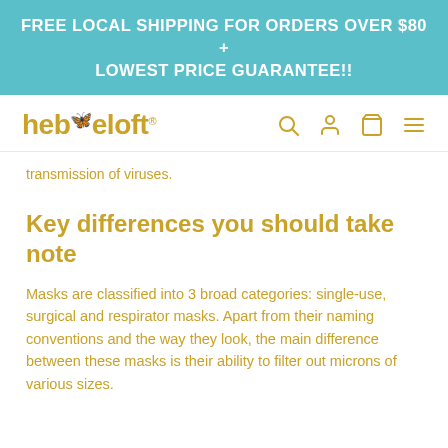FREE LOCAL SHIPPING FOR ORDERS OVER $80 + LOWEST PRICE GUARANTEE!!
[Figure (logo): hebeloft logo in gold/yellow color with butterfly icon and registered trademark symbol, followed by navigation icons (search, user, cart, menu)]
transmission of viruses.
Key differences you should take note
Masks are classified into 3 broad categories: single-use, surgical and respirator masks. Apart from their naming conventions and the way they look, the main difference between these masks is their ability to filter out microns of various sizes.